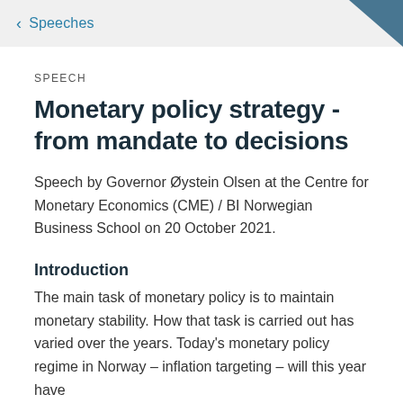Speeches
SPEECH
Monetary policy strategy - from mandate to decisions
Speech by Governor Øystein Olsen at the Centre for Monetary Economics (CME) / BI Norwegian Business School on 20 October 2021.
Introduction
The main task of monetary policy is to maintain monetary stability. How that task is carried out has varied over the years. Today's monetary policy regime in Norway – inflation targeting – will this year have